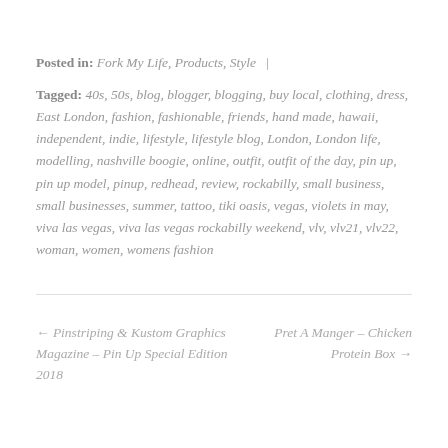Posted in: Fork My Life, Products, Style |
Tagged: 40s, 50s, blog, blogger, blogging, buy local, clothing, dress, East London, fashion, fashionable, friends, hand made, hawaii, independent, indie, lifestyle, lifestyle blog, London, London life, modelling, nashville boogie, online, outfit, outfit of the day, pin up, pin up model, pinup, redhead, review, rockabilly, small business, small businesses, summer, tattoo, tiki oasis, vegas, violets in may, viva las vegas, viva las vegas rockabilly weekend, vlv, vlv21, vlv22, woman, women, womens fashion
← Pinstriping & Kustom Graphics Magazine – Pin Up Special Edition 2018
Pret A Manger – Chicken Protein Box →